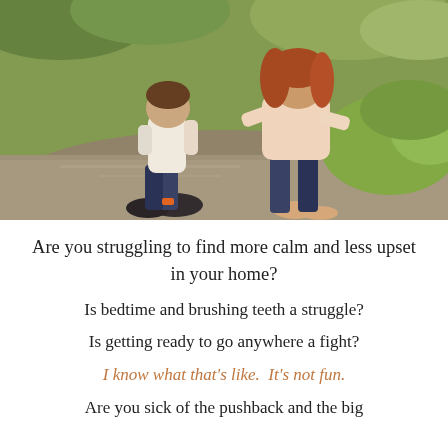[Figure (photo): A mother crouching down next to a young child outdoors on a path with green grass in the background, warm golden light.]
Are you struggling to find more calm and less upset in your home?
Is bedtime and brushing teeth a struggle?
Is getting ready to go anywhere a fight?
I know what that's like.  It's not fun.
Are you sick of the pushback and the big